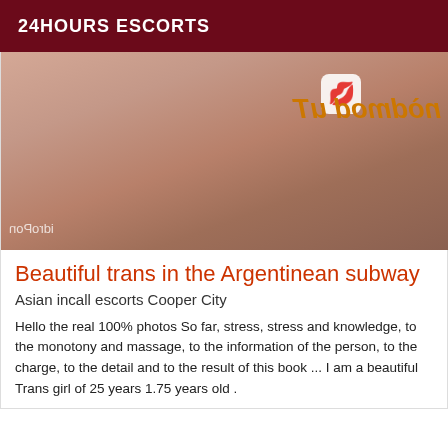24HOURS ESCORTS
[Figure (photo): Close-up photo with mirrored/reversed watermark text reading 'Tu Pombon' in orange and 'Pornorbi' in bottom left corner, with a white rounded square containing a lips emoji in upper area]
Beautiful trans in the Argentinean subway
Asian incall escorts Cooper City
Hello the real 100% photos So far, stress, stress and knowledge, to the monotony and massage, to the information of the person, to the charge, to the detail and to the result of this book ... I am a beautiful Trans girl of 25 years 1.75 years old .